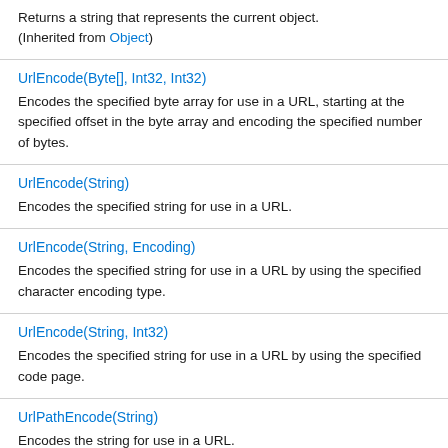Returns a string that represents the current object. (Inherited from Object)
UrlEncode(Byte[], Int32, Int32)
Encodes the specified byte array for use in a URL, starting at the specified offset in the byte array and encoding the specified number of bytes.
UrlEncode(String)
Encodes the specified string for use in a URL.
UrlEncode(String, Encoding)
Encodes the specified string for use in a URL by using the specified character encoding type.
UrlEncode(String, Int32)
Encodes the specified string for use in a URL by using the specified code page.
UrlPathEncode(String)
Encodes the string for use in a URL.